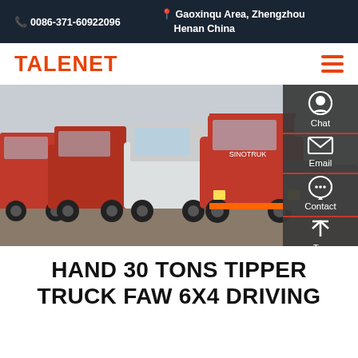0086-371-60922096 | Gaoxinqu Area, Zhengzhou Henan China
TALENET
[Figure (photo): A row of red and white heavy-duty trucks (tractor units) parked in a lot, with a tanker truck visible in the background on the right.]
HAND 30 TONS TIPPER TRUCK FAW 6X4 DRIVING